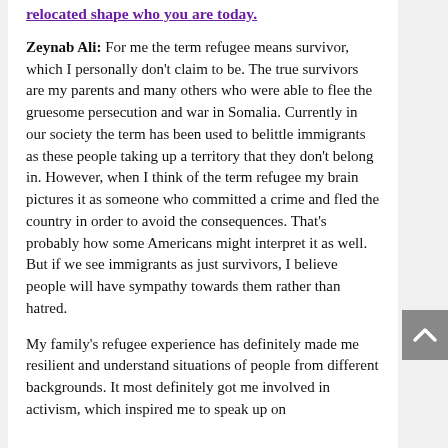relocated shape who you are today.
Zeynab Ali: For me the term refugee means survivor, which I personally don't claim to be. The true survivors are my parents and many others who were able to flee the gruesome persecution and war in Somalia. Currently in our society the term has been used to belittle immigrants as these people taking up a territory that they don't belong in. However, when I think of the term refugee my brain pictures it as someone who committed a crime and fled the country in order to avoid the consequences. That's probably how some Americans might interpret it as well. But if we see immigrants as just survivors, I believe people will have sympathy towards them rather than hatred.
My family's refugee experience has definitely made me resilient and understand situations of people from different backgrounds. It most definitely got me involved in activism, which inspired me to speak up on